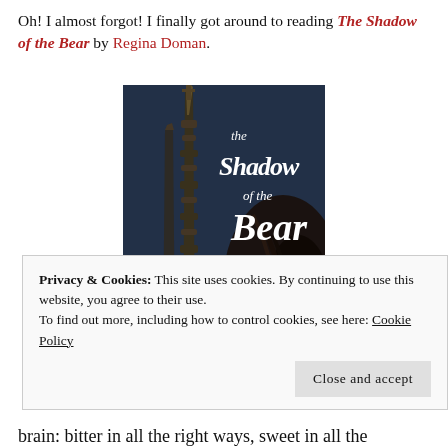Oh! I almost forgot! I finally got around to reading The Shadow of the Bear by Regina Doman.
[Figure (photo): Book cover of 'The Shadow of the Bear: a fairy tale retold' showing a Gothic cathedral spire and a woman's dark hair against a dark blue background, with stylized white lettering.]
Privacy & Cookies: This site uses cookies. By continuing to use this website, you agree to their use.
To find out more, including how to control cookies, see here: Cookie Policy
Close and accept
brain: bitter in all the right ways, sweet in all the